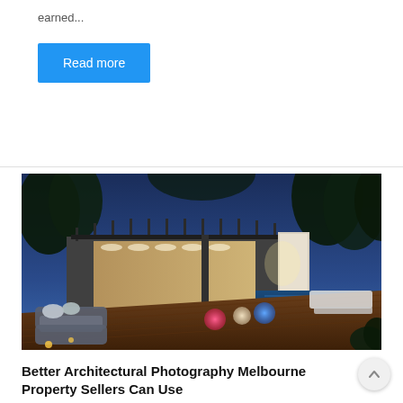earned...
Read more
[Figure (photo): Night-time architectural exterior photo of a modern home with an illuminated open-plan living area, wooden deck, pool, lounge chairs, glowing spherical lights in pink, white, and blue, surrounded by trees under a blue twilight sky.]
Better Architectural Photography Melbourne Property Sellers Can Use